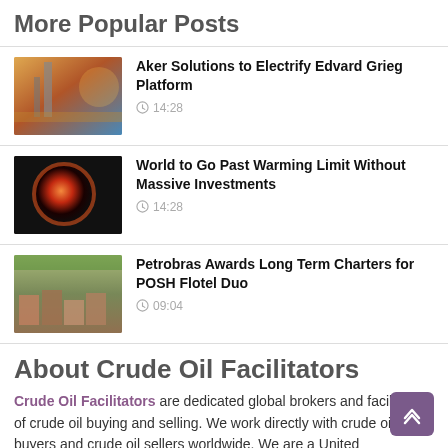More Popular Posts
Aker Solutions to Electrify Edvard Grieg Platform — 14:28
World to Go Past Warming Limit Without Massive Investments — 14:28
Petrobras Awards Long Term Charters for POSH Flotel Duo — 09:04
About Crude Oil Facilitators
Crude Oil Facilitators are dedicated global brokers and facilitators of crude oil buying and selling. We work directly with crude oil buyers and crude oil sellers worldwide. We are a United